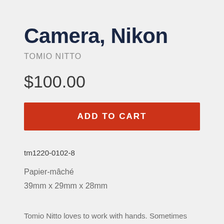Camera, Nikon
TOMIO NITTO
$100.00
ADD TO CART
tm1220-0102-8
Papier-mâché
39mm x 29mm x 28mm
Tomio Nitto loves to work with hands. Sometimes